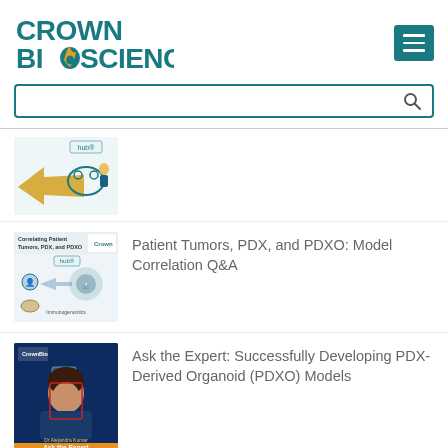[Figure (logo): Crown BioScience logo with teal text and orange flame element]
[Figure (infographic): Hub diagram showing PDX/PDXO model correlation with connected shapes]
[Figure (infographic): Correlating Patient Tumors, PDX and PDXO hub diagram with Crown logo]
Patient Tumors, PDX, and PDXO: Model Correlation Q&A
[Figure (photo): Ask the Expert photo featuring Dr. Alejandra Kumar with Crown BioScience branding]
Ask the Expert: Successfully Developing PDX-Derived Organoid (PDXO) Models